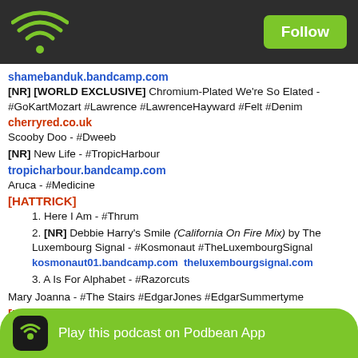shamebanduk.bandcamp.com
[NR] [WORLD EXCLUSIVE] Chromium-Plated We're So Elated - #GoKartMozart #Lawrence #LawrenceHayward #Felt #Denim
cherryred.co.uk
Scooby Doo - #Dweeb
[NR] New Life - #TropicHarbour
tropicharbour.bandcamp.com
Aruca - #Medicine
[HATTRICK]
1. Here I Am - #Thrum
2. [NR] Debbie Harry's Smile (California On Fire Mix) by The Luxembourg Signal - #Kosmonaut #TheLuxembourgSignal
kosmonaut01.bandcamp.com theluxembourgSignal.com
3. A Is For Alphabet - #Razorcuts
Mary Joanna - #The Stairs #EdgarJones #EdgarSummertyme
[ESSENTIAL WAX]
THE STAIRS - MEXICAN R'N'B - 1992
Weed Bus - #The Stairs #EdgarJones #EdgarSummertyme
Charmless M...
Graphics - #...
We Are The White Trainers Community (And We Are Proud Of It) -
[Figure (screenshot): Play this podcast on Podbean App button bar at bottom of screen]